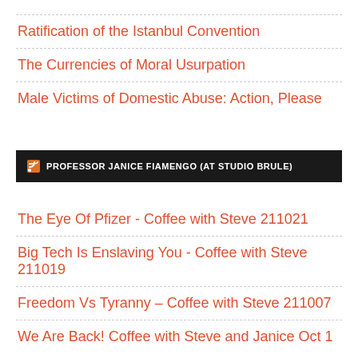Ratification of the Istanbul Convention
The Currencies of Moral Usurpation
Male Victims of Domestic Abuse: Action, Please
[Figure (other): RSS banner for Professor Janice Fiamengo (at Studio Brule)]
The Eye Of Pfizer - Coffee with Steve 211021
Big Tech Is Enslaving You - Coffee with Steve 211019
Freedom Vs Tyranny – Coffee with Steve 211007
We Are Back! Coffee with Steve and Janice Oct 1